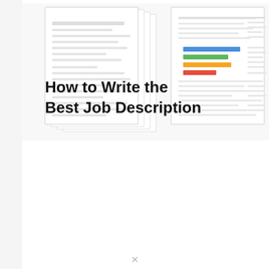[Figure (illustration): Illustration of stacked document pages with colored bar chart elements, depicting job description documents.]
How to Write the Best Job Description
Job descriptions are important both to job seekers and employers. They let the candidate know the duties and requirements of the position, and let the...